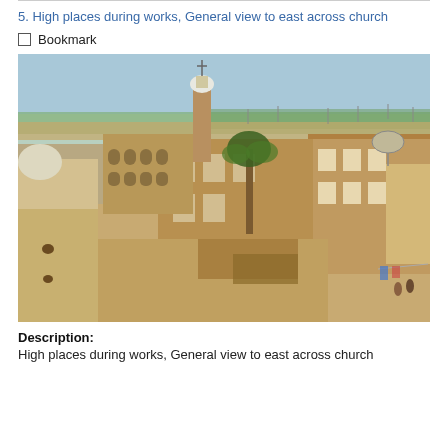5. High places during works, General view to east across church
Bookmark
[Figure (photo): Aerial/elevated view looking east across a church in an Egyptian town. Sandy brick multi-storey buildings fill the scene. A minaret with a white dome is visible in the centre-left. Palm trees are visible. Green fields and a pale blue sky appear in the background.]
Description:
High places during works, General view to east across church